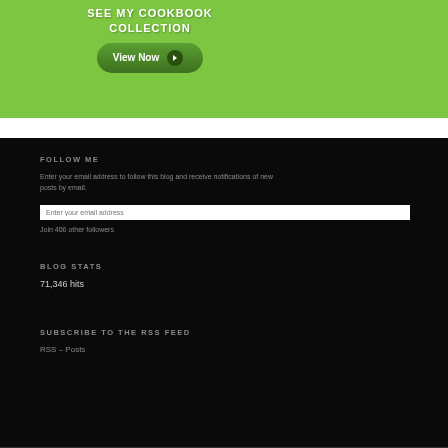[Figure (illustration): Green banner with 'SEE MY COOKBOOK COLLECTION' text and a 'View Now' button with arrow]
FOLLOW ME
Enter your email address to follow this blog and receive notifications of new posts by email.
Join 406 other followers
BLOG STATS
71,346 hits
SUBSCRIBE TO THE RSS FEED
RSS - Posts